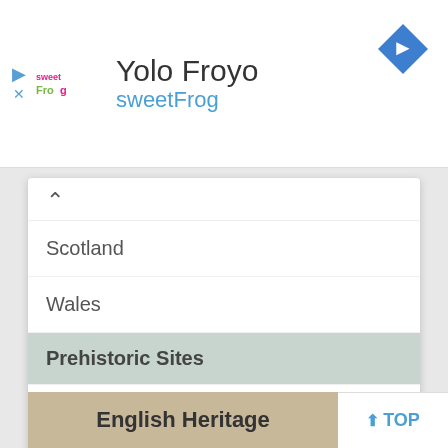[Figure (screenshot): sweetFrog advertisement banner with logo, title 'Yolo Froyo', subtitle 'sweetFrog', play and close icons on the left, and a blue navigation diamond icon on the right]
Scotland
Wales
Prehistoric Sites
England
Scotland
Wales
English Heritage
TOP